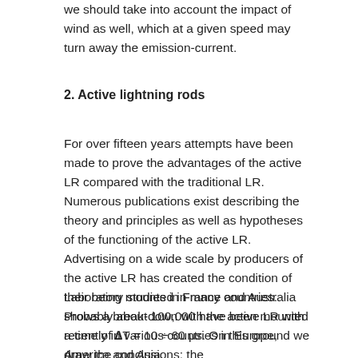we should take into account the impact of wind as well, which at a given speed may turn away the emission-current.
2. Active lightning rods
For over fifteen years attempts have been made to prove the advantages of the active LR compared with the traditional LR. Numerous publications exist describing the theory and principles as well as hypotheses of the functioning of the active LR. Advertising on a wide scale by producers of the active LR has created the condition of their being mounted in many countries. Probably about 100,000 have been mounted recently in various countries in Europe, America and Asia.
Laboratory studies in France and Australia shows a break-down with the active LR with a time of ΔT = 10 ÷ 60 μs. On this ground we draw the conclusions: the